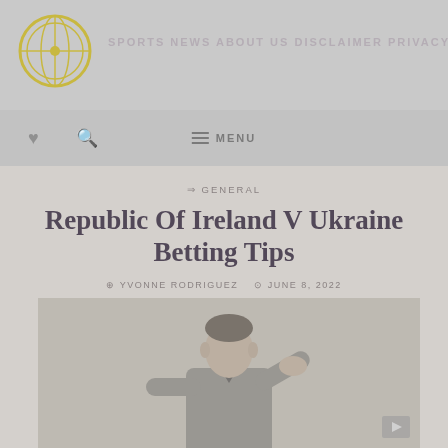SPORTS NEWS ABOUT US DISCLAIMER PRIVACY POLICIES
♥  🔍  ≡ MENU
⇒ GENERAL
Republic Of Ireland V Ukraine Betting Tips
⊕ YVONNE RODRIGUEZ   ⊙ JUNE 8, 2022
[Figure (photo): A man in a suit and tie, appears to be a football manager or official, photographed from the chest up against a blurred background.]